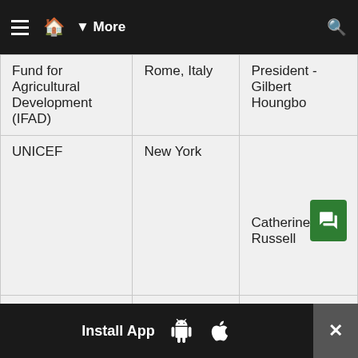≡  🏠  ▼ More   🔍
| Fund for Agricultural Development (IFAD) | Rome, Italy | President - Gilbert Houngbo |
| UNICEF | New York | Catherine M. Russell |
| UN International Training... |  | Executive... |
Install App  [Android]  [Apple]   ×